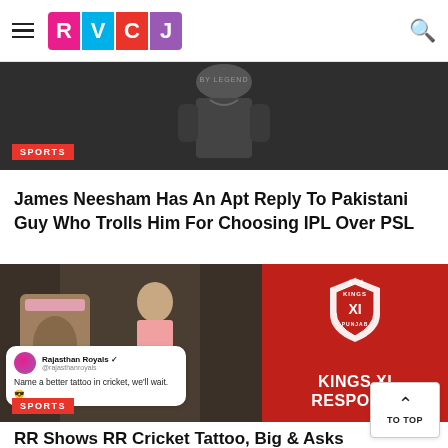RVCJ
[Figure (photo): Sports article image showing a person in dark clothing from behind, with a SPORTS badge overlay]
SPORTS
James Neesham Has An Apt Reply To Pakistani Guy Who Trolls Him For Choosing IPL Over PSL
[Figure (photo): Left: Cricket player with tattooed back in pink shirt reflected in mirror, with a Rajasthan Royals tweet overlay reading 'Name a better tattoo in cricket, we'll wait. 😎'. Right: Kings XI Punjab logo and branding on red background with text 'KINGS XI RESPONDI...']
SPORTS
RR Shows RR Cricket Tattoo, Big & Asks For...